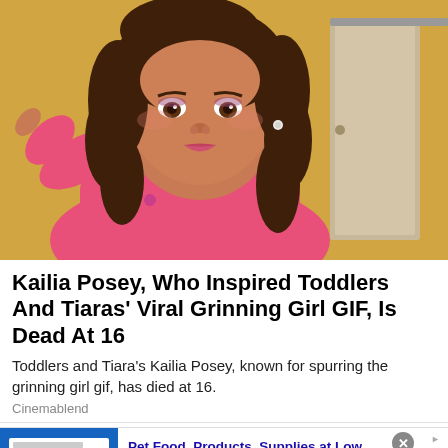[Figure (photo): A young girl with curly brown hair wearing a pink floral jacket, raising her arm, with a yellow wall and white door in the background. She is wearing makeup and a pearl earring.]
Kailia Posey, Who Inspired Toddlers And Tiaras' Viral Grinning Girl GIF, Is Dead At 16
Toddlers and Tiara's Kailia Posey, known for spurring the grinning girl gif, has died at 16.
Cinemablend
[Figure (screenshot): Advertisement banner for Chewy.com: 'Pet Food, Products, Supplies at Low Prices - Pay the lowest prices on pet supplies at Chewy.com' with a blue product image section showing pet supply icons and a navy arrow button on the right.]